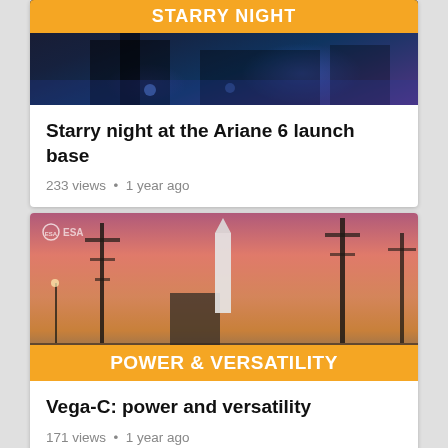[Figure (photo): Thumbnail image of starry night at the Ariane 6 launch base with orange 'STARRY NIGHT' banner overlay]
Starry night at the Ariane 6 launch base
233 views • 1 year ago
[Figure (photo): Thumbnail image of Vega-C rocket on launch pad at sunset with orange 'POWER & VERSATILITY' banner overlay and ESA logo]
Vega-C: power and versatility
171 views • 1 year ago